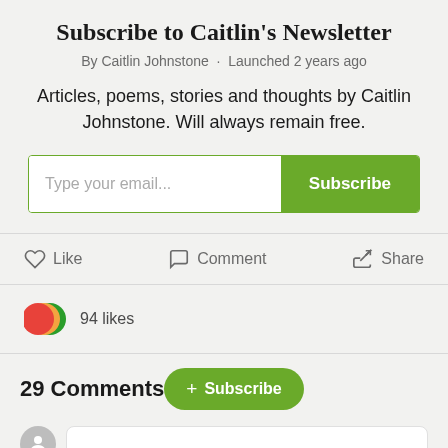Subscribe to Caitlin's Newsletter
By Caitlin Johnstone · Launched 2 years ago
Articles, poems, stories and thoughts by Caitlin Johnstone. Will always remain free.
[Figure (screenshot): Email subscription form with text input placeholder 'Type your email...' and a green Subscribe button]
Like   Comment   Share
94 likes
29 Comments
[Figure (screenshot): Green pill-shaped Subscribe button with plus icon]